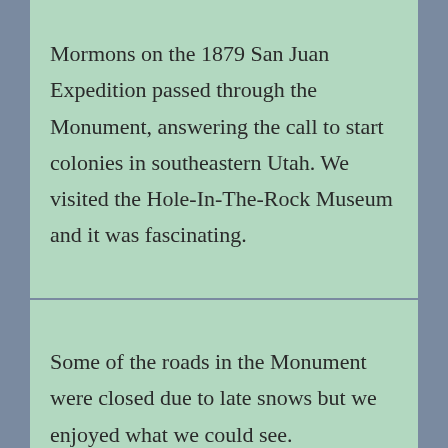Mormons on the 1879 San Juan Expedition passed through the Monument, answering the call to start colonies in southeastern Utah. We visited the Hole-In-The-Rock Museum and it was fascinating.
Some of the roads in the Monument were closed due to late snows but we enjoyed what we could see.